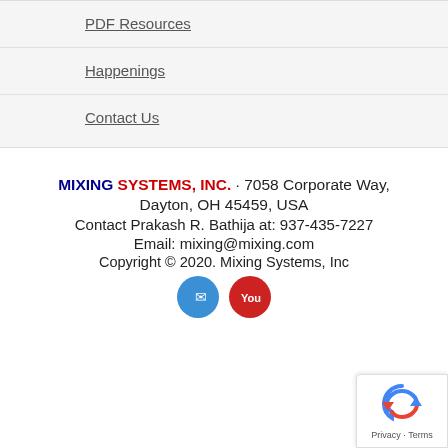PDF Resources
Happenings
Contact Us
MIXING SYSTEMS, INC. · 7058 Corporate Way, Dayton, OH 45459, USA
Contact Prakash R. Bathija at: 937-435-7227
Email: mixing@mixing.com
Copyright © 2020. Mixing Systems, Inc